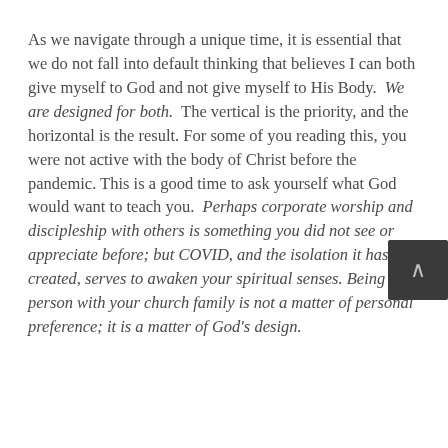As we navigate through a unique time, it is essential that we do not fall into default thinking that believes I can both give myself to God and not give myself to His Body. We are designed for both. The vertical is the priority, and the horizontal is the result. For some of you reading this, you were not active with the body of Christ before the pandemic. This is a good time to ask yourself what God would want to teach you. Perhaps corporate worship and discipleship with others is something you did not see or appreciate before; but COVID, and the isolation it has created, serves to awaken your spiritual senses. Being in-person with your church family is not a matter of personal preference; it is a matter of God's design.